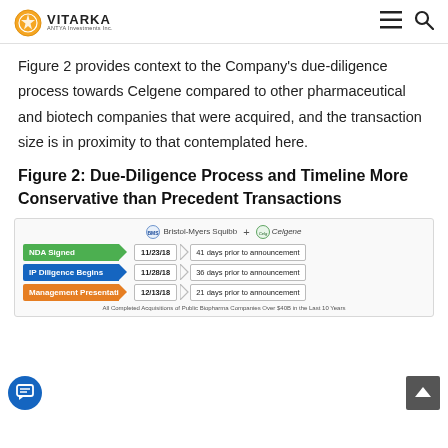VITARKA ANTYA Investments Inc. [navigation icons]
Figure 2 provides context to the Company's due-diligence process towards Celgene compared to other pharmaceutical and biotech companies that were acquired, and the transaction size is in proximity to that contemplated here.
Figure 2: Due-Diligence Process and Timeline More Conservative than Precedent Transactions
[Figure (infographic): Timeline infographic showing Bristol-Myers Squibb + Celgene due-diligence milestones: NDA Signed 11/23/18 (41 days prior to announcement), IP Diligence Begins 11/28/18 (36 days prior to announcement), Management Presentation 12/13/18 (21 days prior to announcement). Footer: All Completed Acquisitions of Public Biopharma Companies Over $40B in the Last 10 Years.]